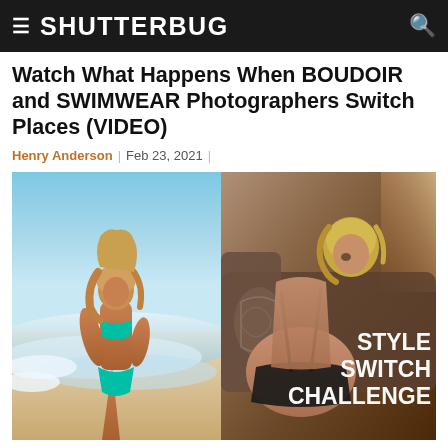SHUTTERBUG
Watch What Happens When BOUDOIR and SWIMWEAR Photographers Switch Places (VIDEO)
Henry Anderson | Feb 23, 2021 |
[Figure (photo): Two-panel image: left panel shows a blonde woman in a teal bikini posing at a beach with ocean waves; right panel shows a blonde woman in a black lingerie/boudoir outfit posed on a couch indoors, with text overlay reading STYLE SWITCH CHALLENGE]